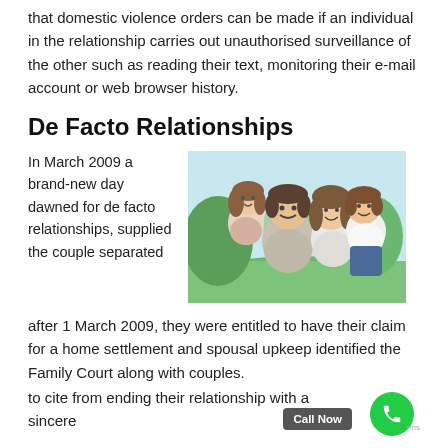that domestic violence orders can be made if an individual in the relationship carries out unauthorised surveillance of the other such as reading their text, monitoring their e-mail account or web browser history.
De Facto Relationships
In March 2009 a brand-new day dawned for de facto relationships, supplied the couple separated after 1 March 2009, they were entitled to have their claim for a home settlement and spousal upkeep identified the Family Court along with couples.
[Figure (photo): A smiling family of four — a man and woman with two children — outdoors on green grass. The man is carrying the children on his back while everyone smiles at the camera.]
to cite from ending their relationship with a sincere...